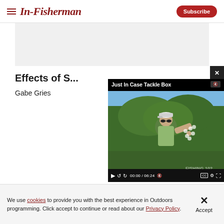In-Fisherman | Subscribe
[Figure (screenshot): Advertisement banner area, light gray background]
Effects of S...
Gabe Gries
[Figure (screenshot): Video player overlay titled 'Just In Case Tackle Box' showing a man outdoors holding fishing tackle. Controls show 00:00 / 06:24. Video is paused.]
We use cookies to provide you with the best experience in Outdoors programming. Click accept to continue or read about our Privacy Policy.